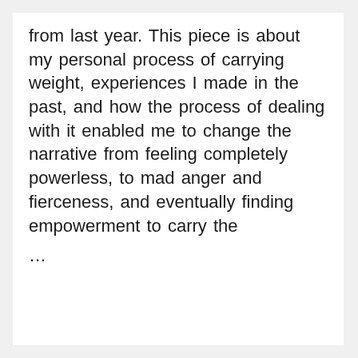from last year. This piece is about my personal process of carrying weight, experiences I made in the past, and how the process of dealing with it enabled me to change the narrative from feeling completely powerless, to mad anger and fierceness, and eventually finding empowerment to carry the …